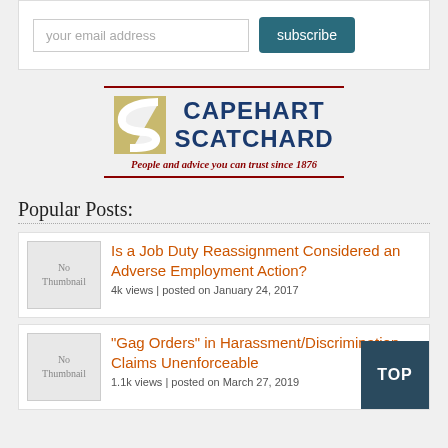[Figure (other): Email subscription box with input field and subscribe button]
[Figure (logo): Capehart Scatchard law firm logo with tagline 'People and advice you can trust since 1876']
Popular Posts:
Is a Job Duty Reassignment Considered an Adverse Employment Action?
4k views | posted on January 24, 2017
"Gag Orders" in Harassment/Discrimination Claims Unenforceable
1.1k views | posted on March 27, 2019